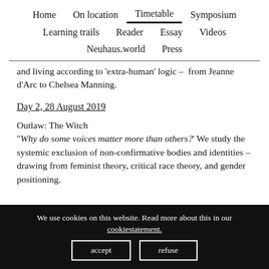Home  On location  Timetable  Symposium  Learning trails  Reader  Essay  Videos  Neuhaus.world  Press
and living according to 'extra-human' logic –  from Jeanne d'Arc to Chelsea Manning.
Day 2, 28 August 2019
Outlaw: The Witch
“Why do some voices matter more than others?’ We study the systemic exclusion of non-confirmative bodies and identities – drawing from feminist theory, critical race theory, and gender positioning.
We use cookies on this website. Read more about this in our cookiestatement.